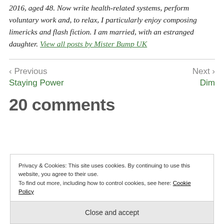2016, aged 48. Now write health-related systems, perform voluntary work and, to relax, I particularly enjoy composing limericks and flash fiction. I am married, with an estranged daughter. View all posts by Mister Bump UK
< Previous
Staying Power
Next >
Dim
20 comments
Privacy & Cookies: This site uses cookies. By continuing to use this website, you agree to their use.
To find out more, including how to control cookies, see here: Cookie Policy
Close and accept